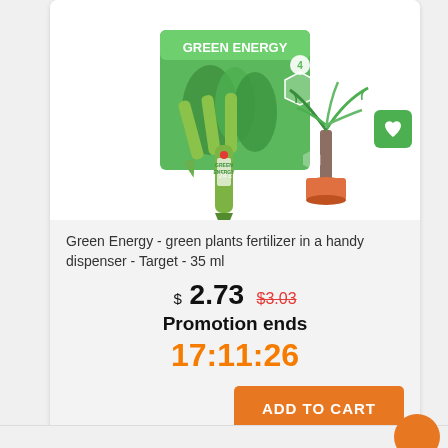[Figure (photo): Green Energy plant fertilizer product photo — a green display box labeled 'GREEN ENERGY' containing spike dispensers, with a single green spike dispenser in front, and a potted palm plant to the right.]
Green Energy - green plants fertilizer in a handy dispenser - Target - 35 ml
$ 2.73  $3.03
Promotion ends
17:11:26
ADD TO CART